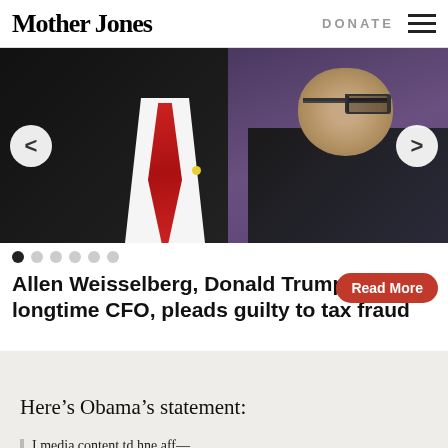Mother Jones | DONATE
[Figure (photo): Two men in suits, one with a red tie on the left (partially visible), another man with glasses on the right looking stern, with a purple/dark background. Slideshow navigation arrows visible.]
Allen Weisselberg, Donald Trump's longtime CFO, pleads guilty to tax fraud
Here's Obama's statement:
I media content below an...